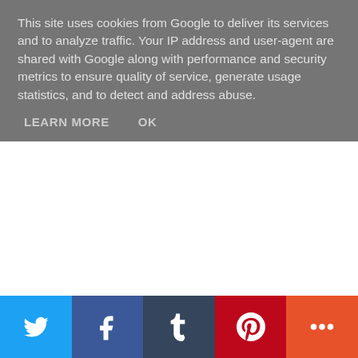This site uses cookies from Google to deliver its services and to analyze traffic. Your IP address and user-agent are shared with Google along with performance and security metrics to ensure quality of service, generate usage statistics, and to detect and address abuse.
LEARN MORE   OK
My problem with the way Red's gender/sexuality is handled
Red is not given any pronouns for about half the novel.
We are generally led to believe she is a cisgender, straight, boy, through her being referred to as 'mate' and general gender-coding.